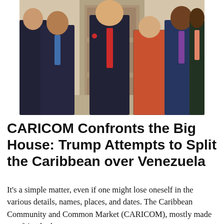[Figure (photo): Group photo of Donald Trump and Melania Trump standing with several Caribbean leaders in suits, posing in front of an ornate door backdrop.]
CARICOM Confronts the Big House: Trump Attempts to Split the Caribbean over Venezuela
It's a simple matter, even if one might lose oneself in the various details, names, places, and dates. The Caribbean Community and Common Market (CARICOM), mostly made up of Anglophone